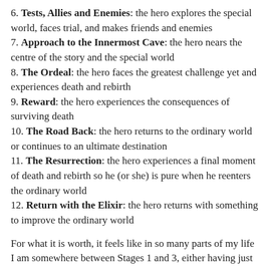6. Tests, Allies and Enemies: the hero explores the special world, faces trial, and makes friends and enemies
7. Approach to the Innermost Cave: the hero nears the centre of the story and the special world
8. The Ordeal: the hero faces the greatest challenge yet and experiences death and rebirth
9. Reward: the hero experiences the consequences of surviving death
10. The Road Back: the hero returns to the ordinary world or continues to an ultimate destination
11. The Resurrection: the hero experiences a final moment of death and rebirth so he (or she) is pure when he reenters the ordinary world
12. Return with the Elixir: the hero returns with something to improve the ordinary world
For what it is worth, it feels like in so many parts of my life I am somewhere between Stages 1 and 3, either having just being called or just having rejected the call